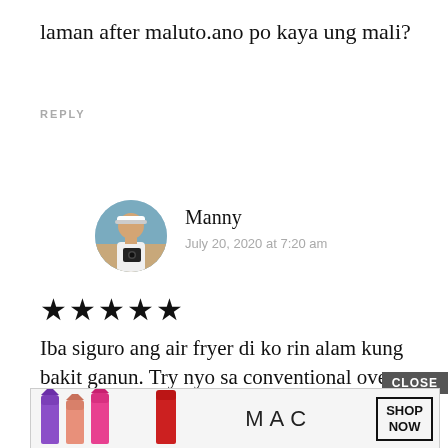laman after maluto.ano po kaya ung mali?
REPLY
[Figure (photo): Circular avatar photo of a man wearing a white visor cap, holding a camera, with a beach/outdoor background]
Manny
July 20, 2020 at 7:20 am
★★★★★
Iba siguro ang air fryer di ko rin alam kung bakit ganun. Try nyo sa conventional oven baka mas ok dun.
REPLY
[Figure (advertisement): MAC cosmetics ad banner with lipsticks in purple, pink, and red colors, MAC logo, and SHOP NOW button]